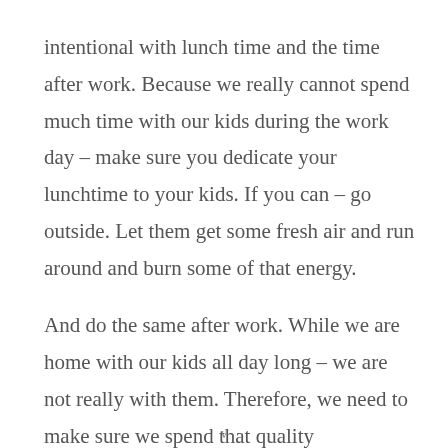intentional with lunch time and the time after work. Because we really cannot spend much time with our kids during the work day – make sure you dedicate your lunchtime to your kids. If you can – go outside. Let them get some fresh air and run around and burn some of that energy.
And do the same after work. While we are home with our kids all day long – we are not really with them. Therefore, we need to make sure we spend that quality
v